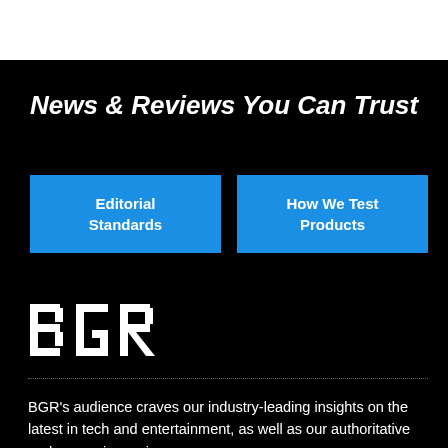News & Reviews You Can Trust
Editorial Standards
How We Test Products
[Figure (logo): BGR logo in white on black background]
BGR’s audience craves our industry-leading insights on the latest in tech and entertainment, as well as our authoritative and expansive reviews.